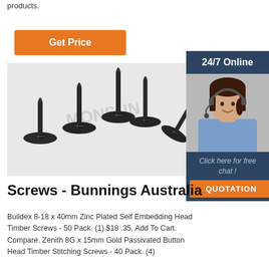products.
Get Price
[Figure (photo): Black self-tapping screws, multiple screws shown on white background with watermark]
[Figure (infographic): 24/7 Online support panel with female agent wearing headset, 'Click here for free chat!' text and orange QUOTATION button]
Screws - Bunnings Australia
Buildex 8-18 x 40mm Zinc Plated Self Embedding Head Timber Screws - 50 Pack. (1) $18 .35. Add To Cart. Compare. Zenith 8G x 15mm Gold Passivated Button Head Timber Stitching Screws - 40 Pack. (4)